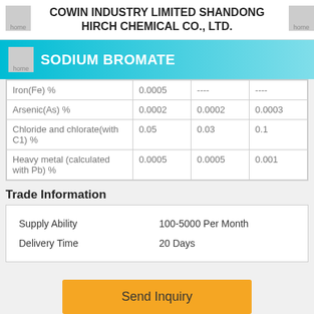COWIN INDUSTRY LIMITED SHANDONG HIRCH CHEMICAL CO., LTD.
SODIUM BROMATE
| Iron(Fe) % | 0.0005 | ---- | ---- |
| Arsenic(As) % | 0.0002 | 0.0002 | 0.0003 |
| Chloride and chlorate(with C1) % | 0.05 | 0.03 | 0.1 |
| Heavy metal (calculated with Pb) % | 0.0005 | 0.0005 | 0.001 |
Trade Information
| Supply Ability | Delivery Time |
| --- | --- |
| Supply Ability | 100-5000 Per Month |
| Delivery Time | 20 Days |
Send Inquiry